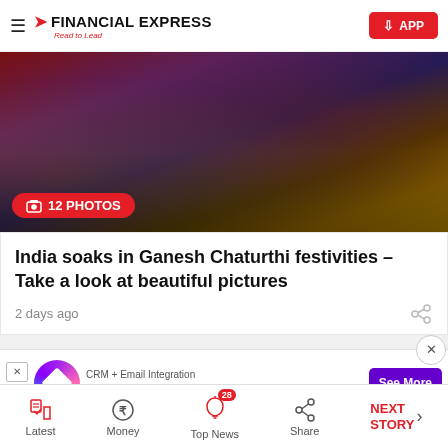Financial Express – Read to Lead | APP
[Figure (photo): Colorful festival image for Ganesh Chaturthi with a badge showing '12 PHOTOS']
India soaks in Ganesh Chaturthi festivities – Take a look at beautiful pictures
2 days ago
[Figure (screenshot): Advertisement banner: CRM + Email Integration – Search CRM + Email Integration – See More button]
Latest | Money | Top News (28) | Share | NEXT STORY